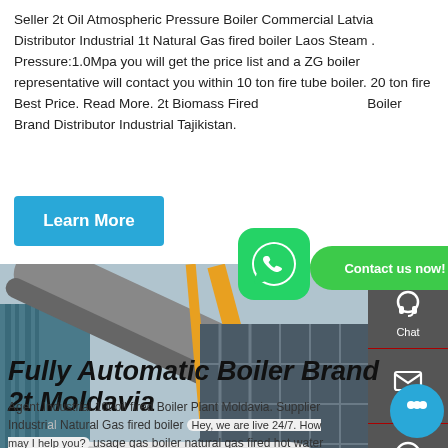Seller 2t Oil Atmospheric Pressure Boiler Commercial Latvia Distributor Industrial 1t Natural Gas fired boiler Laos Steam . Pressure:1.0Mpa you will get the price list and a ZG boiler representative will contact you within 10 ton fire tube boiler. 20 ton fire Best Price. Read More. 2t Biomass Fired Boiler Brand Distributor Industrial Tajikistan.
[Figure (photo): Industrial boiler installation site with large pipes, crane, and a white horizontal boiler unit on the ground, blue silo structure on the left]
Fully Automatic Boiler Brand 2t Moldavia
Agent Industrial 10t oil fired Boiler Plant Moldavia. Supplier Industrial Natural Gas fired boiler usage gas boiler natural gas fired hot water boilers world top 5 exhaust.